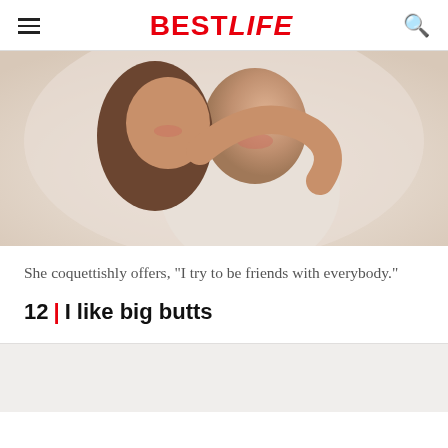BestLife
[Figure (photo): A smiling young couple, woman hugging man from behind, both laughing, white background]
She coquettishly offers, "I try to be friends with everybody."
12 | I like big butts
[Figure (photo): Bottom of next article image, light gray background]